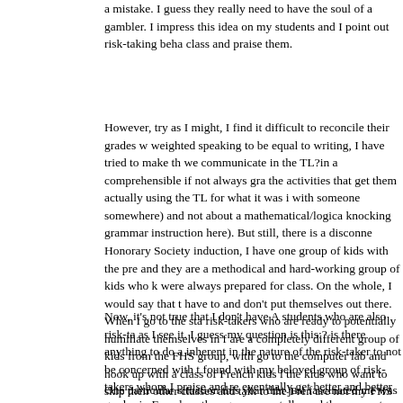a mistake. I guess they really need to have the soul of a gambler. I impress this idea on my students and I point out risk-taking behavior in class and praise them.
However, try as I might, I find it difficult to reconcile their grades with weighted speaking to be equal to writing, I have tried to make the way we communicate in the TL?in a comprehensible if not always grammatically the activities that get them actually using the TL for what it was intended with someone somewhere) and not about a mathematical/logical knocking grammar instruction here). But still, there is a disconnect. At Honorary Society induction, I have one group of kids with the pre and they are a methodical and hard-working group of kids who k were always prepared for class. On the whole, I would say that t have to and don't put themselves out there. When I go to the sta risk-takers who are ready to potentially humiliate themselves in f are a completely different group of kids from the FHS group, with go to the computer lab and hook up with a class of French kids l the kids who want to skip their other classes and talk to the Fren are not my FHS kids.
Now, it's not true that I don't have A students who are also risk-ta as I see it. I guess my question is this:? is there anything to do a inherent in the nature of the risk-taker to not be concerned with t found with my beloved group of risk-takers whom I praise and re eventually get better and better grades in French as they go on, pep talks and they come to crave the outward recognition that th
One particular situation this year that just fascinated me was tha highest level to date; next year we add French IV& was?o kn